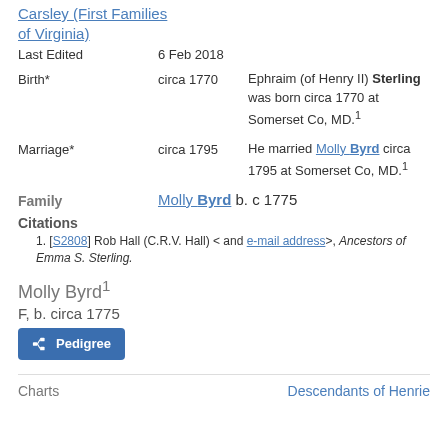Carsley (First Families of Virginia)
Last Edited: 6 Feb 2018
Birth* circa 1770 — Ephraim (of Henry II) Sterling was born circa 1770 at Somerset Co, MD.[1]
Marriage* circa 1795 — He married Molly Byrd circa 1795 at Somerset Co, MD.[1]
Family — Molly Byrd b. c 1775
Citations
1. [S2808] Rob Hall (C.R.V. Hall) < and e-mail address>, Ancestors of Emma S. Sterling.
Molly Byrd
F, b. circa 1775
Pedigree
Charts — Descendants of Henrie